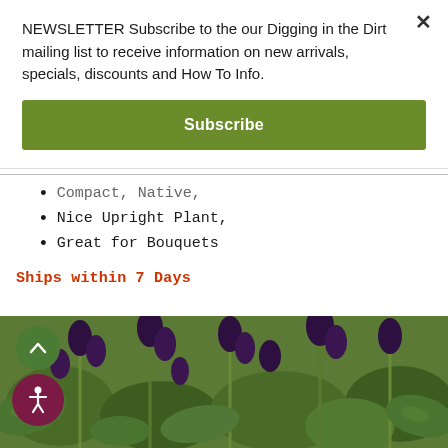NEWSLETTER Subscribe to the our Digging in the Dirt mailing list to receive information on new arrivals, specials, discounts and How To Info.
Subscribe
Compact, Native,
Nice Upright Plant,
Great for Bouquets
Ships within 7 Days
[Figure (photo): Photo of dark purple flower buds and green foliage plant in garden setting]